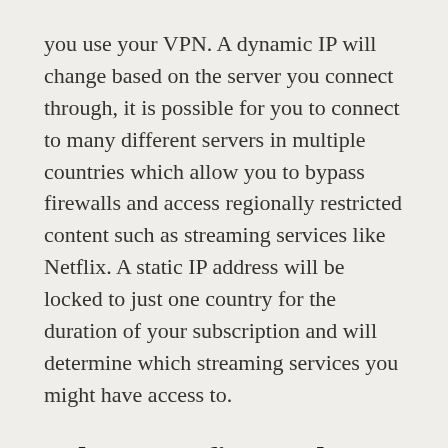you use your VPN. A dynamic IP will change based on the server you connect through, it is possible for you to connect to many different servers in multiple countries which allow you to bypass firewalls and access regionally restricted content such as streaming services like Netflix. A static IP address will be locked to just one country for the duration of your subscription and will determine which streaming services you might have access to.
What Benefits Is There To Using A Static IP VPN?
The best argument for using a static IP VPN is that since it constant, you will have more consistent performance and access. This reliability makes using VoIP services like Skype far more consistent and make for more stable streaming connections which makes...